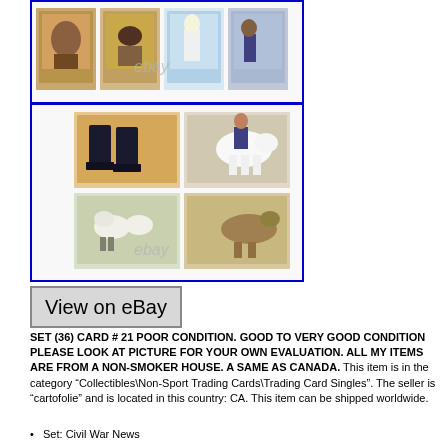[Figure (photo): Grid of vintage western/cowboy trading cards with blue border frame, with eBay watermark. Top row shows multiple colorful western-themed cards.]
[Figure (photo): Grid of vintage western/cowboy trading cards with blue border frame, with eBay watermark. Shows cowboy boots, horses, sheep and other western scenes.]
View on eBay
SET (36) CARD # 21 POOR CONDITION. GOOD TO VERY GOOD CONDITION PLEASE LOOK AT PICTURE FOR YOUR OWN EVALUATION. ALL MY ITEMS ARE FROM A NON-SMOKER HOUSE. A SAME AS CANADA. This item is in the category “Collectibles\Non-Sport Trading Cards\Trading Card Singles”. The seller is “cartofolie” and is located in this country: CA. This item can be shipped worldwide.
Set: Civil War News